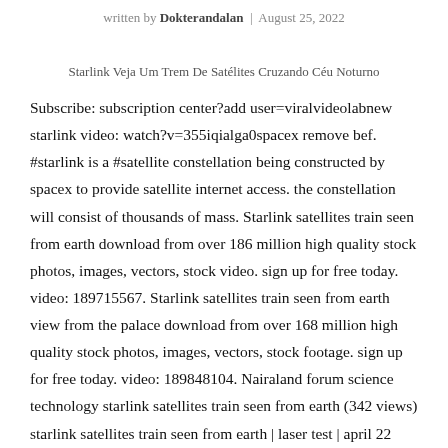written by Dokterandalan | August 25, 2022
Starlink Veja Um Trem De Satélites Cruzando Céu Noturno
Subscribe: subscription center?add user=viralvideolabnew starlink video: watch?v=355iqialga0spacex remove bef. #starlink is a #satellite constellation being constructed by spacex to provide satellite internet access. the constellation will consist of thousands of mass. Starlink satellites train seen from earth download from over 186 million high quality stock photos, images, vectors, stock video. sign up for free today. video: 189715567. Starlink satellites train seen from earth view from the palace download from over 168 million high quality stock photos, images, vectors, stock footage. sign up for free today. video: 189848104. Nairaland forum science technology starlink satellites train seen from earth (342 views) starlink satellites train seen from earth | laser test | april 22 universe as seen from indian space observatory 13